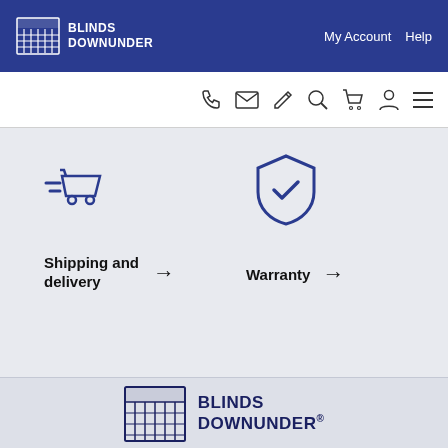[Figure (logo): Blinds Downunder logo in header — grid/blind icon with white text BLINDS DOWNUNDER]
My Account   Help
[Figure (infographic): Icon toolbar: phone, email, edit, search, cart, account, menu icons]
[Figure (infographic): Shipping cart icon with speed lines]
Shipping and delivery →
[Figure (infographic): Shield with checkmark icon (Warranty)]
Warranty →
[Figure (logo): Blinds Downunder® footer logo — grid/blind icon with dark blue text BLINDS DOWNUNDER®]